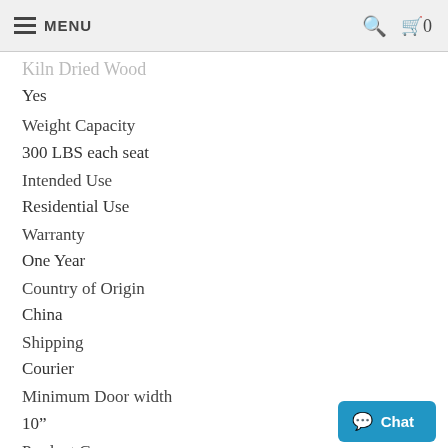MENU
Kiln Dried Wood
Yes
Weight Capacity
300 LBS each seat
Intended Use
Residential Use
Warranty
One Year
Country of Origin
China
Shipping
Courier
Minimum Door width
10"
Product Care
Wipe clean with dry cloth, do not use liquid cleaners